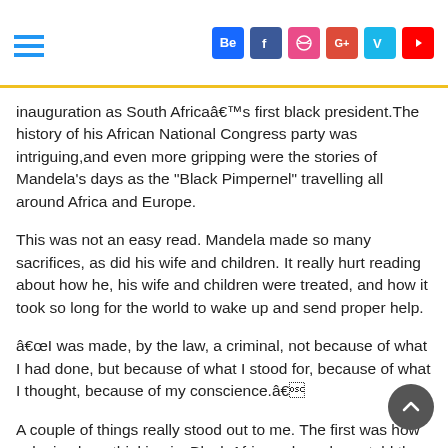[hamburger menu] [social icons: Be, f, Dribbble, G+, Vine, YouTube]
inauguration as South Africaâ€™s first black president.The history of his African National Congress party was intriguing,and even more gripping were the stories of Mandela's days as the "Black Pimpernel" travelling all around Africa and Europe.
This was not an easy read. Mandela made so many sacrifices, as did his wife and children. It really hurt reading about how he, his wife and children were treated, and how it took so long for the world to wake up and send proper help.
â€œI was made, by the law, a criminal, not because of what I had done, but because of what I stood for, because of what I thought, because of my conscience.â€
A couple of things really stood out to me. The first was how colonized our thinking is. Black Africans have been told they are inferior and even now they often display that inferiority complex. The Afrikaners were fed the same lies and believed that blacks were inferior before witnessing for themselves that that wasn't